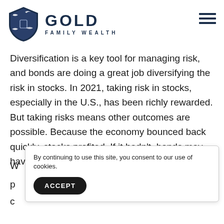GOLD FAMILY WEALTH
Diversification is a key tool for managing risk, and bonds are doing a great job diversifying the risk in stocks. In 2021, taking risk in stocks, especially in the U.S., has been richly rewarded. But taking risks means other outcomes are possible. Because the economy bounced back quickly, stocks profited. If it hadn't, bonds may have been key to managing downside.
By continuing to use this site, you consent to our use of cookies.
W
p
c